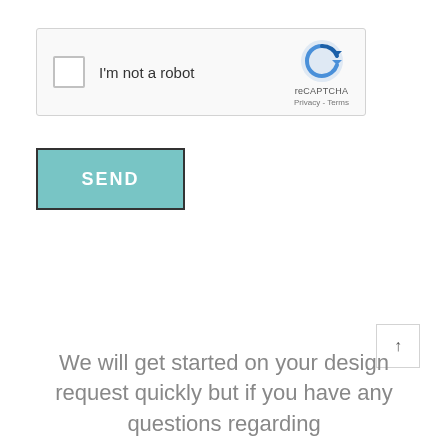[Figure (screenshot): reCAPTCHA widget with checkbox labeled 'I'm not a robot' and reCAPTCHA logo with Privacy and Terms links]
SEND
[Figure (other): Scroll-to-top button with upward arrow]
We will get started on your design request quickly but if you have any questions regarding